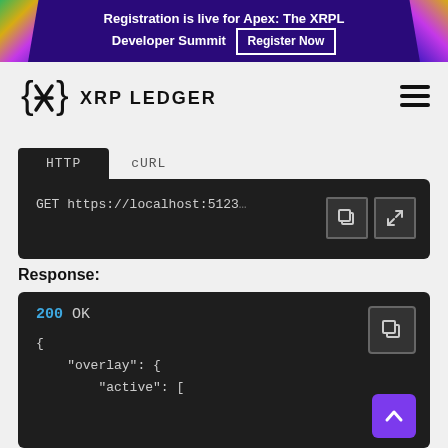Registration is live for Apex: The XRPL Developer Summit  Register Now
[Figure (logo): XRP Ledger logo with curly brace and X symbol, text: XRP LEDGER]
[Figure (screenshot): HTTP/cURL tab panel showing: GET https://localhost:5123... with copy and expand buttons]
Response:
[Figure (screenshot): Response code block showing: 200 OK, {, "overlay": {, "active": [ with copy button and scroll-to-top button]